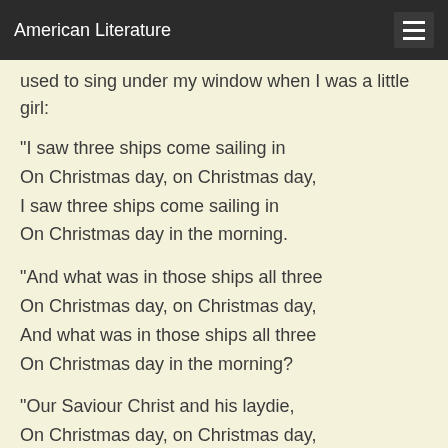American Literature
used to sing under my window when I was a little girl:
"I saw three ships come sailing in
On Christmas day, on Christmas day,
I saw three ships come sailing in
On Christmas day in the morning.
"And what was in those ships all three
On Christmas day, on Christmas day,
And what was in those ships all three
On Christmas day in the morning?
"Our Saviour Christ and his laydie,
On Christmas day, on Christmas day,